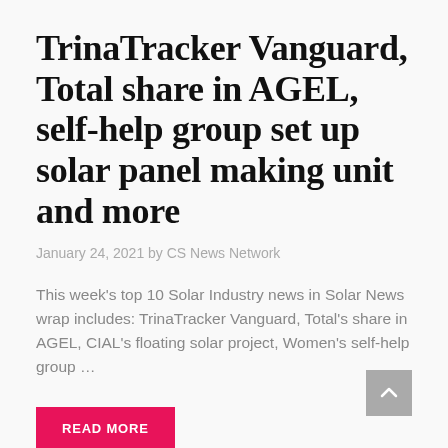TrinaTracker Vanguard, Total share in AGEL, self-help group set up solar panel making unit and more
January 24, 2021 by CS News Network
This week's top 10 Solar Industry news in Solar News wrap includes: TrinaTracker Vanguard, Total's share in AGEL, CIAL's floating solar project, Women's self-help group …
READ MORE